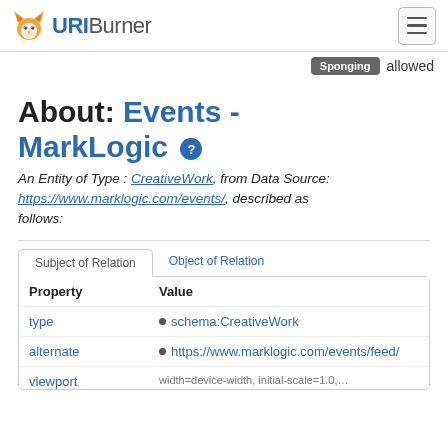URIBurner
Sponging allowed
About: Events - MarkLogic
An Entity of Type : CreativeWork, from Data Source: https://www.marklogic.com/events/, described as follows:
| Property | Value |
| --- | --- |
| type | schema:CreativeWork |
| alternate | https://www.marklogic.com/events/feed/ |
| viewport |  |